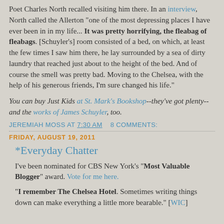Poet Charles North recalled visiting him there. In an interview, North called the Allerton "one of the most depressing places I have ever been in in my life... It was pretty horrifying, the fleabag of fleabags. [Schuyler's] room consisted of a bed, on which, at least the few times I saw him there, he lay surrounded by a sea of dirty laundry that reached just about to the height of the bed. And of course the smell was pretty bad. Moving to the Chelsea, with the help of his generous friends, I'm sure changed his life."
You can buy Just Kids at St. Mark's Bookshop--they've got plenty--and the works of James Schuyler, too.
JEREMIAH MOSS AT 7:30 AM   8 COMMENTS:
FRIDAY, AUGUST 19, 2011
*Everyday Chatter
I've been nominated for CBS New York's "Most Valuable Blogger" award. Vote for me here.
"I remember The Chelsea Hotel. Sometimes writing things down can make everything a little more bearable." [WIC]